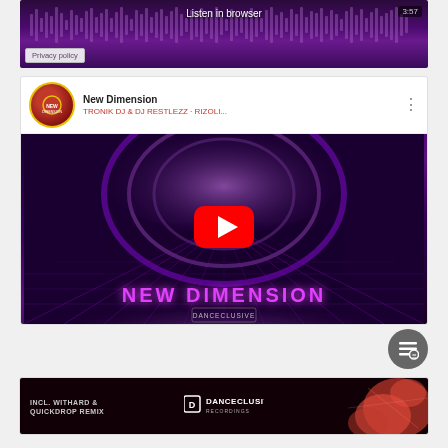[Figure (screenshot): Partial audio player with purple waveform background, text 'Listen in browser', timestamp 3:57, and Privacy policy badge]
[Figure (screenshot): YouTube embed for 'New Dimension' by TRONIK DJ & DJ RESTLEZZ on DANCECLUSIVE label, showing YouTube play button over a purple sci-fi tunnel visual with 'NEW DIMENSION' text and DANCECLUSIVE logo]
[Figure (screenshot): Bottom banner for DANCECLUSIVE RECORDINGS showing 'INCL. WITHARD & QUICKDROP REMIX' text with red abstract graphic on dark background]